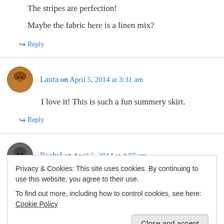The stripes are perfection!
Maybe the fabric here is a linen mix?
↪ Reply
Laura on April 5, 2014 at 3:31 am
I love it! This is such a fun summery skirt.
↪ Reply
Rachel on April 5, 2014 at 4:07 am
Privacy & Cookies: This site uses cookies. By continuing to use this website, you agree to their use.
To find out more, including how to control cookies, see here: Cookie Policy
Close and accept